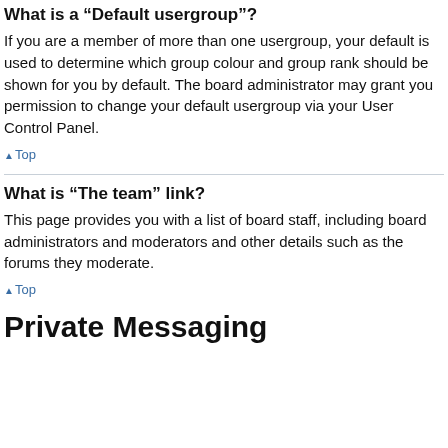What is a “Default usergroup”?
If you are a member of more than one usergroup, your default is used to determine which group colour and group rank should be shown for you by default. The board administrator may grant you permission to change your default usergroup via your User Control Panel.
▲Top
What is “The team” link?
This page provides you with a list of board staff, including board administrators and moderators and other details such as the forums they moderate.
▲Top
Private Messaging